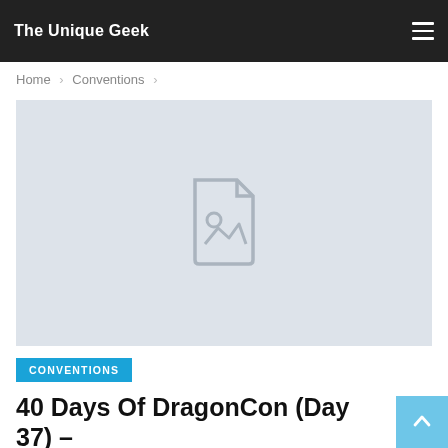The Unique Geek
Home > Conventions >
[Figure (photo): Featured image placeholder with a document/image icon on a light grey background]
CONVENTIONS
40 Days Of DragonCon (Day 37) –